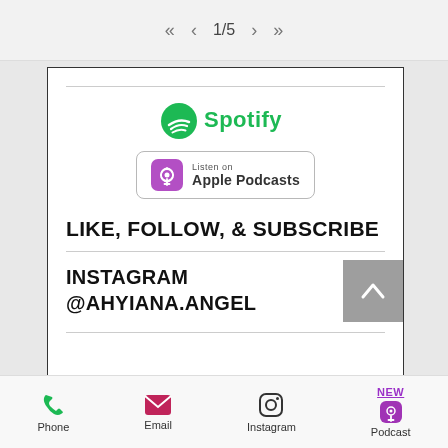<< < 1/5 > >>
[Figure (logo): Spotify logo with green icon and green Spotify text]
[Figure (logo): Listen on Apple Podcasts badge with purple podcast icon]
LIKE, FOLLOW, & SUBSCRIBE
INSTAGRAM
@AHYIANA.ANGEL
Phone  Email  Instagram  NEW Podcast